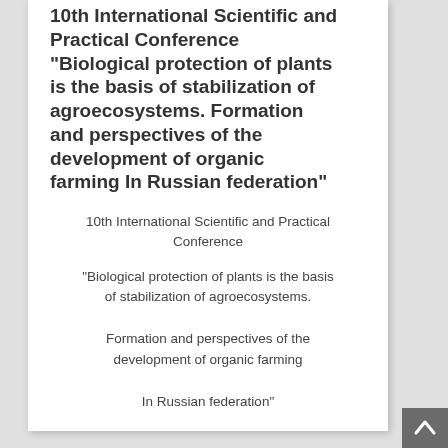10th International Scientific and Practical Conference "Biological protection of plants is the basis of stabilization of agroecosystems. Formation and perspectives of the development of organic farming In Russian federation"
10th International Scientific and Practical Conference
"Biological protection of plants is the basis of stabilization of agroecosystems.
Formation and perspectives of the development of organic farming
In Russian federation"